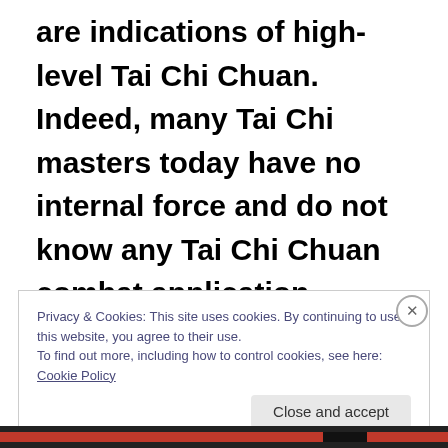are indications of high-level Tai Chi Chuan. Indeed, many Tai Chi masters today have no internal force and do not know any Tai Chi Chuan combat application. These attainments should not make us
Privacy & Cookies: This site uses cookies. By continuing to use this website, you agree to their use. To find out more, including how to control cookies, see here: Cookie Policy
Close and accept